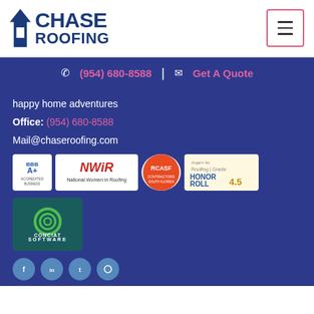[Figure (logo): Chase Roofing logo with house/arrow icon and blue text]
[Figure (other): Hamburger menu button with pink/red border]
(954) 680-8588 | Get A Quote
happy home adventures
Office: (954) 680-8588
Mail@chaseroofing.com
[Figure (logo): BBB A+ Accredited Business badge, NWiR National Women in Roofing logo, RCASF badge, Angie's List Honor Roll 4.5 badge]
[Figure (logo): Conciat Software logo - teal box with green circular icon and white text]
[Figure (other): Social media icon circles at bottom]